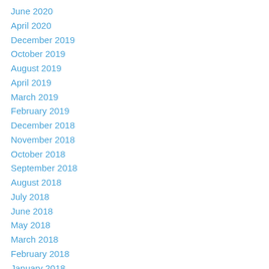June 2020
April 2020
December 2019
October 2019
August 2019
April 2019
March 2019
February 2019
December 2018
November 2018
October 2018
September 2018
August 2018
July 2018
June 2018
May 2018
March 2018
February 2018
January 2018
December 2017